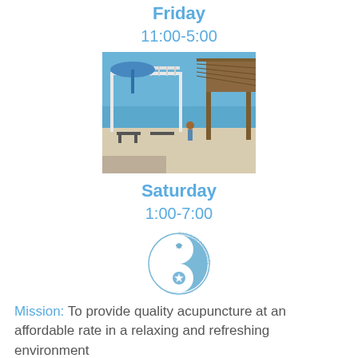Friday
11:00-5:00
[Figure (photo): Outdoor beachside area with pergola, umbrella tables, and a thatched hut structure near the ocean]
Saturday
1:00-7:00
[Figure (logo): Circular logo with yin-yang design featuring a shell and starfish, text reading beachside community acupuncture]
Mission: To provide quality acupuncture at an affordable rate in a relaxing and refreshing environment
Follow us on Facebook, Instagram